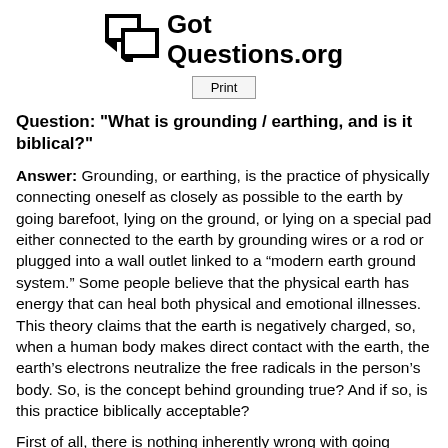GotQuestions.org
Print
Question: "What is grounding / earthing, and is it biblical?"
Answer: Grounding, or earthing, is the practice of physically connecting oneself as closely as possible to the earth by going barefoot, lying on the ground, or lying on a special pad either connected to the earth by grounding wires or a rod or plugged into a wall outlet linked to a “modern earth ground system.” Some people believe that the physical earth has energy that can heal both physical and emotional illnesses. This theory claims that the earth is negatively charged, so, when a human body makes direct contact with the earth, the earth’s electrons neutralize the free radicals in the person’s body. So, is the concept behind grounding true? And if so, is this practice biblically acceptable?
First of all, there is nothing inherently wrong with going barefoot or lying on the ground. Some people enjoy being closer to nature than others do, and it is well-known that fresh air and sunshine can lift the spirits and even speed